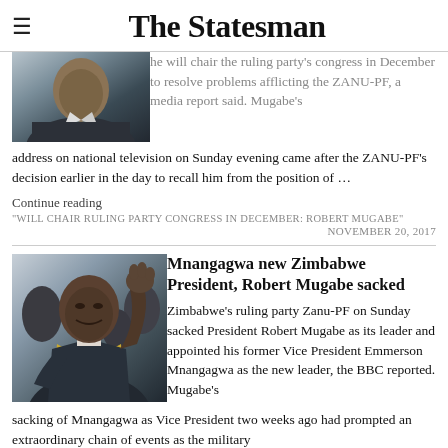The Statesman
[Figure (photo): Partial photo of a man in suit with blue tie, top of head cut off]
he will chair the ruling party's congress in December to resolve problems afflicting the ZANU-PF, a media report said. Mugabe's address on national television on Sunday evening came after the ZANU-PF's decision earlier in the day to recall him from the position of …
Continue reading
"WILL CHAIR RULING PARTY CONGRESS IN DECEMBER: ROBERT MUGABE"
NOVEMBER 20, 2017
[Figure (photo): Photo of Robert Mugabe raising his arm/hand, wearing suit and academic regalia sash]
Mnangagwa new Zimbabwe President, Robert Mugabe sacked
Zimbabwe's ruling party Zanu-PF on Sunday sacked President Robert Mugabe as its leader and appointed his former Vice President Emmerson Mnangagwa as the new leader, the BBC reported. Mugabe's sacking of Mnangagwa as Vice President two weeks ago had prompted an extraordinary chain of events as the military